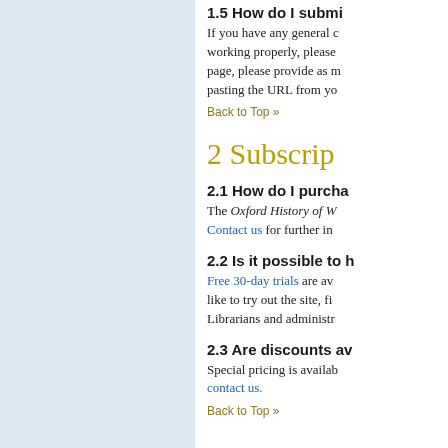1.5 How do I submi...
If you have any general concerns about the site not working properly, please... page, please provide as m... pasting the URL from yo...
Back to Top »
2 Subscrip...
2.1 How do I purcha...
The Oxford History of W... Contact us for further in...
2.2 Is it possible to h...
Free 30-day trials are av... like to try out the site, fi... Librarians and administr...
2.3 Are discounts av...
Special pricing is availab... contact us.
Back to Top »